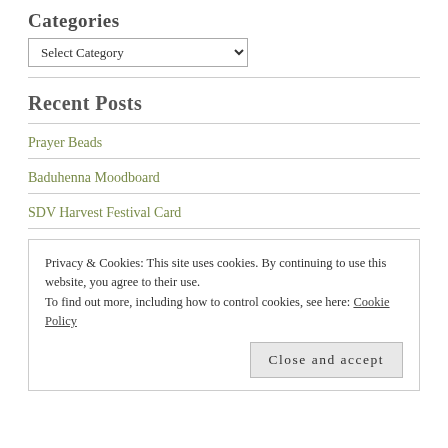Categories
Select Category
Recent Posts
Prayer Beads
Baduhenna Moodboard
SDV Harvest Festival Card
Privacy & Cookies: This site uses cookies. By continuing to use this website, you agree to their use. To find out more, including how to control cookies, see here: Cookie Policy
Close and accept